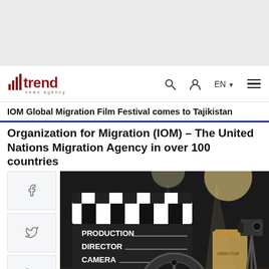[Figure (other): Gray advertisement banner placeholder at top of page]
trend news agency | EN | search | user | menu
IOM Global Migration Film Festival comes to Tajikistan
Organization for Migration (IOM) – The United Nations Migration Agency in over 100 countries
[Figure (photo): Film production scene with clapperboard reading PRODUCTION, DIRECTOR, CAMERA, DAT... and a film reel in the foreground, a director's chair and camera on tripod in the background on a dark studio stage.]